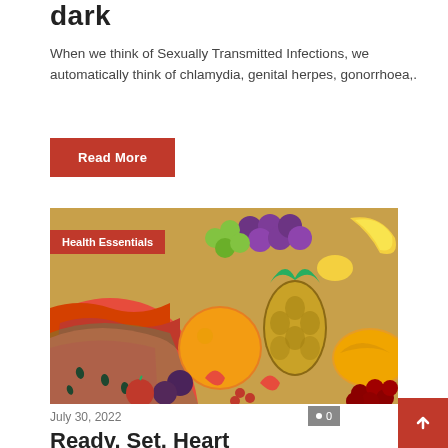dark
When we think of Sexually Transmitted Infections, we automatically think of chlamydia, genital herpes, gonorrhoea,.
Read More
[Figure (photo): A colorful assortment of fresh fruits including watermelon, pineapple, oranges, grapes, strawberries, plums, and other tropical fruits arranged together. A red badge overlay reads 'Health Essentials'.]
July 30, 2022
Ready. Set. Heart